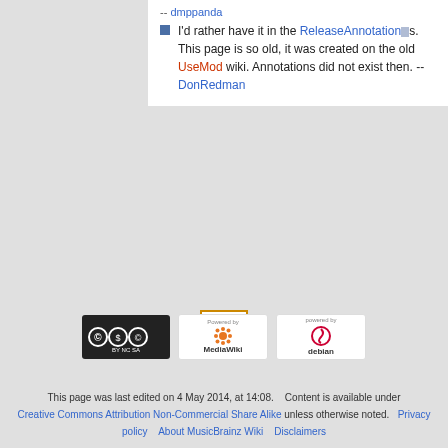-- dmppanda
I'd rather have it in the ReleaseAnnotations. This page is so old, it was created on the old UseMod wiki. Annotations did not exist then. --DonRedman
[Figure (other): Scroll-to-top button with orange border and upward triangle icon]
[Figure (logo): Creative Commons Attribution Non-Commercial Share Alike badge]
[Figure (logo): Powered by MediaWiki badge]
[Figure (logo): Powered by Debian badge]
This page was last edited on 4 May 2014, at 14:08.    Content is available under Creative Commons Attribution Non-Commercial Share Alike unless otherwise noted.   Privacy policy    About MusicBrainz Wiki    Disclaimers